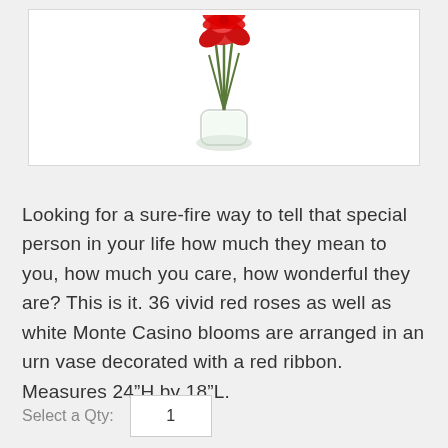[Figure (photo): Partial view of a flower arrangement with red blooms (roses/poinsettia) and green stems in a clear glass vase, shown against a white background]
Looking for a sure-fire way to tell that special person in your life how much they mean to you, how much you care, how wonderful they are? This is it. 36 vivid red roses as well as white Monte Casino blooms are arranged in an urn vase decorated with a red ribbon. Measures 24"H by 18"L.
Select a Qty:  1